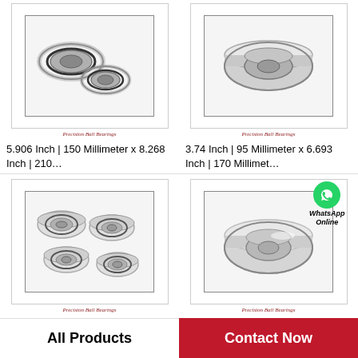[Figure (photo): Two precision ball bearings shown from above, gray metallic with rubber seals]
Precision Ball Bearings
5.906 Inch | 150 Millimeter x 8.268 Inch | 210…
[Figure (photo): Large single precision ball bearing shown from side angle]
Precision Ball Bearings
3.74 Inch | 95 Millimeter x 6.693 Inch | 170 Millimet…
[Figure (photo): Four small precision ball bearings with flanged edges arranged in 2x2 pattern]
Precision Ball Bearings
[Figure (photo): Single large precision ball bearing with WhatsApp Online overlay icon]
Precision Ball Bearings
All Products
Contact Now